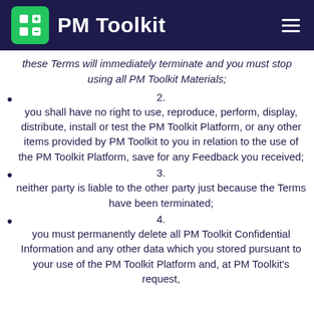PM Toolkit
these Terms will immediately terminate and you must stop using all PM Toolkit Materials;
2. you shall have no right to use, reproduce, perform, display, distribute, install or test the PM Toolkit Platform, or any other items provided by PM Toolkit to you in relation to the use of the PM Toolkit Platform, save for any Feedback you received;
3. neither party is liable to the other party just because the Terms have been terminated;
4. you must permanently delete all PM Toolkit Confidential Information and any other data which you stored pursuant to your use of the PM Toolkit Platform and, at PM Toolkit's request,